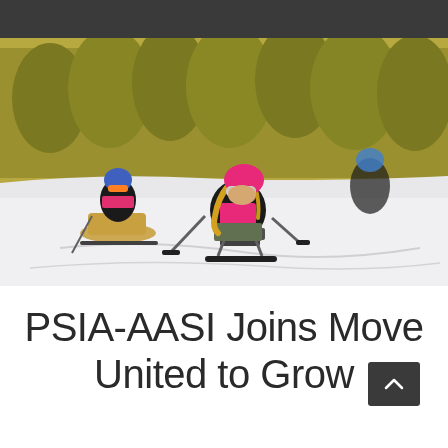[Figure (photo): Two adaptive skiers racing down a snow slope using sit-ski and monoski equipment. The foreground skier wears a pink helmet, ski goggles, a pink vest, and black jacket, using outrigger poles while seated in a mono-ski frame. A second skier in a sit-ski is visible in the background left, wearing a blue helmet. Pine trees are visible in the background.]
PSIA-AASI Joins Move United to Grow